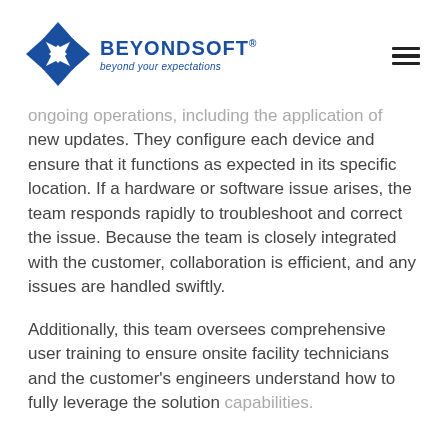BEYONDSOFT® beyond your expectations
ongoing operations, including the application of new updates. They configure each device and ensure that it functions as expected in its specific location. If a hardware or software issue arises, the team responds rapidly to troubleshoot and correct the issue. Because the team is closely integrated with the customer, collaboration is efficient, and any issues are handled swiftly.
Additionally, this team oversees comprehensive user training to ensure onsite facility technicians and the customer's engineers understand how to fully leverage the solution capabilities.